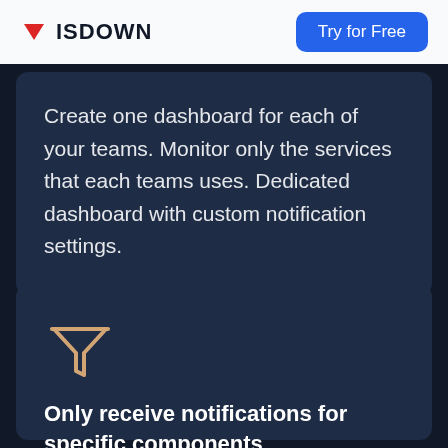ISDOWN | Try for Free
Create one dashboard for each of your teams. Monitor only the services that each teams uses. Dedicated dashboard with custom notification settings.
[Figure (illustration): Funnel/filter icon in light orange/tan color]
Only receive notifications for specific components